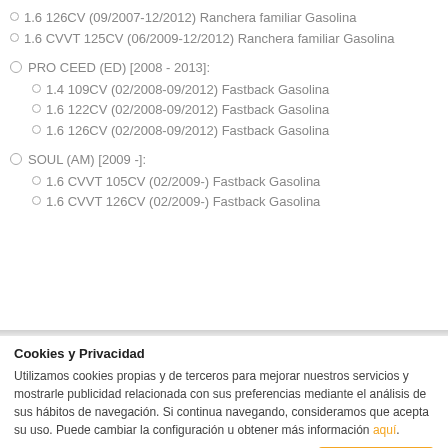1.6 126CV (09/2007-12/2012) Ranchera familiar Gasolina
1.6 CVVT 125CV (06/2009-12/2012) Ranchera familiar Gasolina
PRO CEED (ED) [2008 - 2013]:
1.4 109CV (02/2008-09/2012) Fastback Gasolina
1.6 122CV (02/2008-09/2012) Fastback Gasolina
1.6 126CV (02/2008-09/2012) Fastback Gasolina
SOUL (AM) [2009 -]:
1.6 CVVT 105CV (02/2009-) Fastback Gasolina
1.6 CVVT 126CV (02/2009-) Fastback Gasolina
Cookies y Privacidad
Utilizamos cookies propias y de terceros para mejorar nuestros servicios y mostrarle publicidad relacionada con sus preferencias mediante el análisis de sus hábitos de navegación. Si continua navegando, consideramos que acepta su uso. Puede cambiar la configuración u obtener más información aquí.